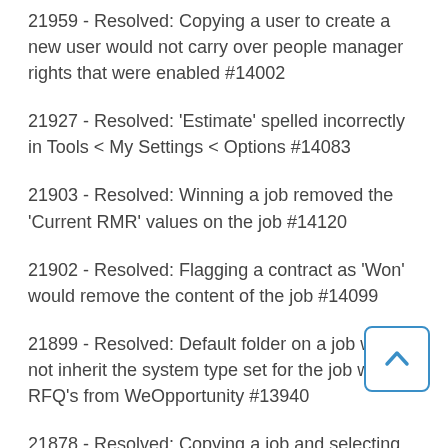21959 - Resolved: Copying a user to create a new user would not carry over people manager rights that were enabled #14002
21927 - Resolved: 'Estimate' spelled incorrectly in Tools < My Settings < Options #14083
21903 - Resolved: Winning a job removed the 'Current RMR' values on the job #14120
21902 - Resolved: Flagging a contract as 'Won' would remove the content of the job #14099
21899 - Resolved: Default folder on a job would not inherit the system type set for the job when RFQ's from WeOpportunity #13940
21878 - Resolved: Copying a job and selecting 'Quote to Contractor' in the field resulted in an error #13960